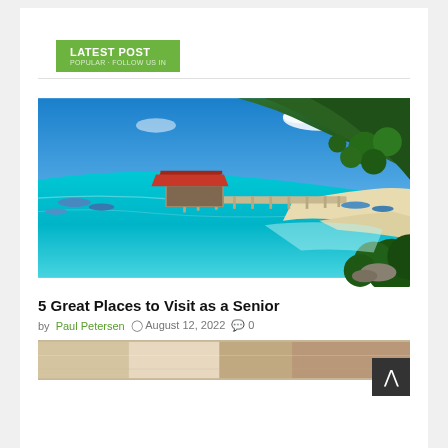LATEST POST
[Figure (photo): Tropical beach scene with turquoise water, a long wooden pier leading to a covered pavilion with a red roof, white sandy beach, and a lush green hillside in the background under a blue sky with clouds.]
5 Great Places to Visit as a Senior
by Paul Petersen  August 12, 2022  0
[Figure (photo): Partial view of a second photo at the bottom, appears to show an outdoor or patio scene.]